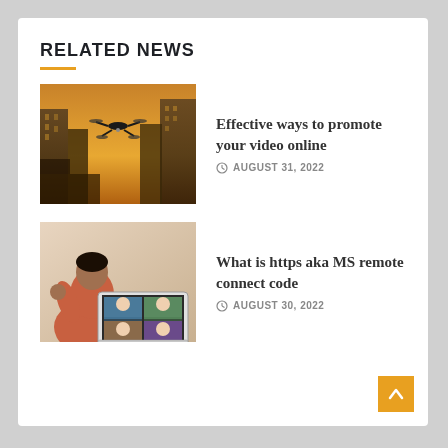RELATED NEWS
[Figure (photo): A drone flying in a dystopian sci-fi cityscape with golden hues]
Effective ways to promote your video online
AUGUST 31, 2022
[Figure (photo): A person in a salmon/orange shirt gesturing toward a laptop screen showing a video conference]
What is https aka MS remote connect code
AUGUST 30, 2022